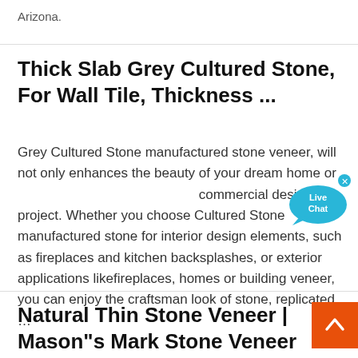Arizona.
Thick Slab Grey Cultured Stone, For Wall Tile, Thickness ...
Grey Cultured Stone manufactured stone veneer, will not only enhances the beauty of your dream home or commercial design project. Whether you choose Cultured Stone manufactured stone for interior design elements, such as fireplaces and kitchen backsplashes, or exterior applications likefireplaces, homes or building veneer, you can enjoy the craftsman look of stone, replicated …
Natural Thin Stone Veneer | Mason"s Mark Stone Veneer